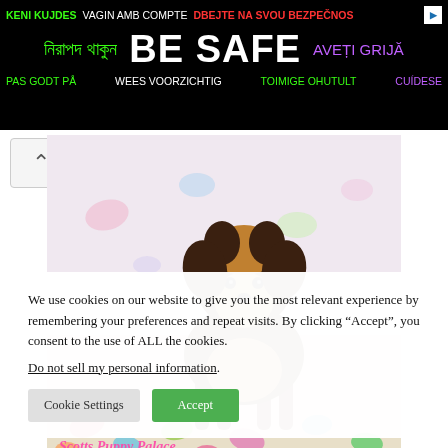[Figure (other): Banner advertisement with multilingual 'BE SAFE' text in various colors on black background]
[Figure (photo): Yorkshire Terrier puppy standing on colorful heart-patterned surface with 'Scotts Puppy Palace' watermark text]
Puppies for Sale
We use cookies on our website to give you the most relevant experience by remembering your preferences and repeat visits. By clicking “Accept”, you consent to the use of ALL the cookies.
Do not sell my personal information.
Cookie Settings  Accept